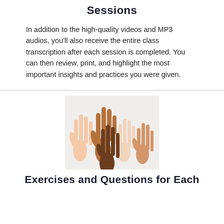Sessions
In addition to the high-quality videos and MP3 audios, you'll also receive the entire class transcription after each session is completed. You can then review, print, and highlight the most important insights and practices you were given.
[Figure (photo): Multiple hands of diverse skin tones raised upward against a light background.]
Exercises and Questions for Each